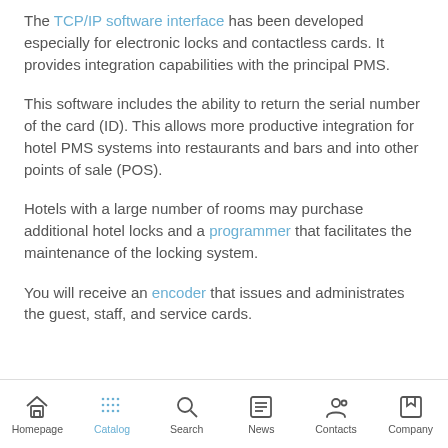The TCP/IP software interface has been developed especially for electronic locks and contactless cards. It provides integration capabilities with the principal PMS.
This software includes the ability to return the serial number of the card (ID). This allows more productive integration for hotel PMS systems into restaurants and bars and into other points of sale (POS).
Hotels with a large number of rooms may purchase additional hotel locks and a programmer that facilitates the maintenance of the locking system.
You will receive an encoder that issues and administrates the guest, staff, and service cards.
Homepage | Catalog | Search | News | Contacts | Company